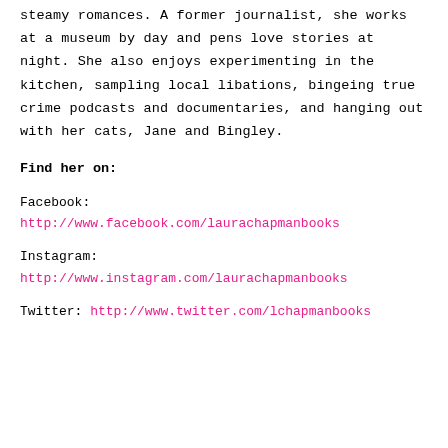steamy romances. A former journalist, she works at a museum by day and pens love stories at night. She also enjoys experimenting in the kitchen, sampling local libations, bingeing true crime podcasts and documentaries, and hanging out with her cats, Jane and Bingley.
Find her on:
Facebook:
http://www.facebook.com/laurachapmanbooks
Instagram:
http://www.instagram.com/laurachapmanbooks
Twitter: http://www.twitter.com/lchapmanbooks